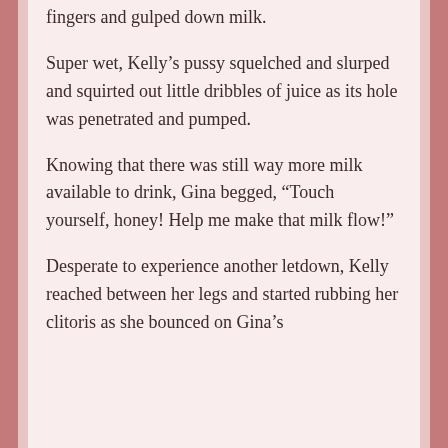fingers and gulped down milk.
Super wet, Kelly’s pussy squelched and slurped and squirted out little dribbles of juice as its hole was penetrated and pumped.
Knowing that there was still way more milk available to drink, Gina begged, “Touch yourself, honey! Help me make that milk flow!”
Desperate to experience another letdown, Kelly reached between her legs and started rubbing her clitoris as she bounced on Gina’s